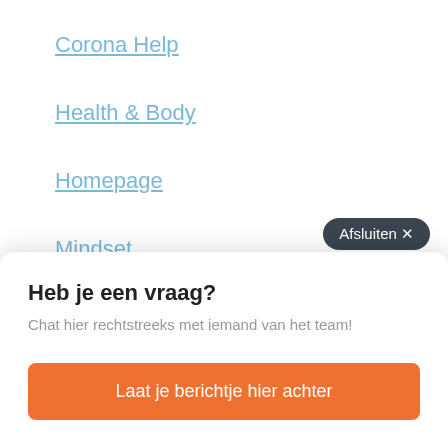Corona Help
Health & Body
Homepage
Mindset
Podcast
Afsluiten ×
Heb je een vraag?
Chat hier rechtstreeks met iemand van het team!
Laat je berichtje hier achter